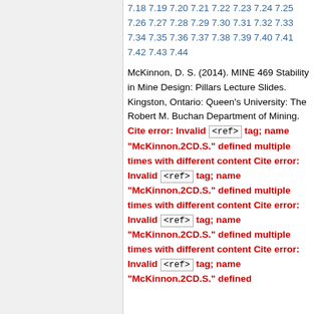7.18 7.19 7.20 7.21 7.22 7.23 7.24 7.25 7.26 7.27 7.28 7.29 7.30 7.31 7.32 7.33 7.34 7.35 7.36 7.37 7.38 7.39 7.40 7.41 7.42 7.43 7.44
McKinnon, D. S. (2014). MINE 469 Stability in Mine Design: Pillars Lecture Slides. Kingston, Ontario: Queen's University: The Robert M. Buchan Department of Mining. Cite error: Invalid <ref> tag; name "McKinnon.2CD.S." defined multiple times with different content Cite error: Invalid <ref> tag; name "McKinnon.2CD.S." defined multiple times with different content Cite error: Invalid <ref> tag; name "McKinnon.2CD.S." defined multiple times with different content Cite error: Invalid <ref> tag; name "McKinnon.2CD.S." defined